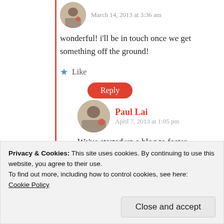March 14, 2013 at 3:36 am
wonderful! i'll be in touch once we get something off the ground!
Like
Reply
Paul Lai
April 7, 2013 at 1:05 pm
We've started up a blog to foster conversations between librarians and social workers (and students in those fields). We'd love for you to join us!
Privacy & Cookies: This site uses cookies. By continuing to use this website, you agree to their use.
To find out more, including how to control cookies, see here:
Cookie Policy
Close and accept